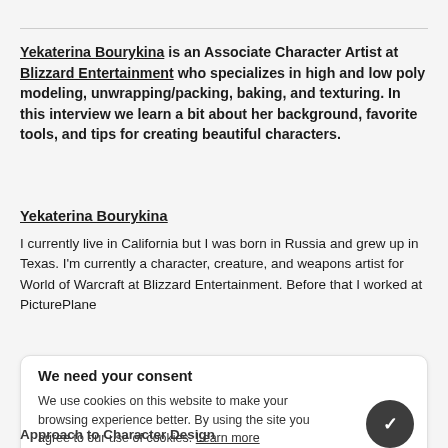Yekaterina Bourykina is an Associate Character Artist at Blizzard Entertainment who specializes in high and low poly modeling, unwrapping/packing, baking, and texturing. In this interview we learn a bit about her background, favorite tools, and tips for creating beautiful characters.
Yekaterina Bourykina
I currently live in California but I was born in Russia and grew up in Texas. I'm currently a character, creature, and weapons artist for World of Warcraft at Blizzard Entertainment. Before that I worked at PicturePlane
We need your consent
We use cookies on this website to make your browsing experience better. By using the site you agree to our use of cookies. Learn more
Approach to Character Design